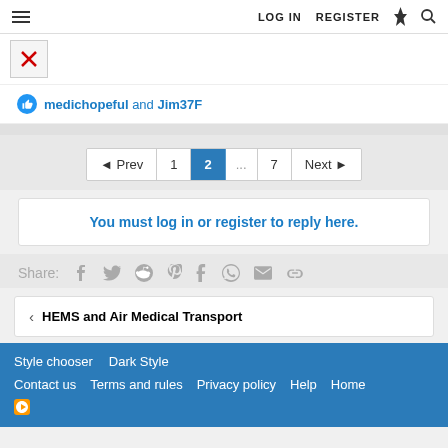LOG IN  REGISTER
[Figure (other): Broken image icon (red X on white/grey background)]
medichopeful and Jim37F
◄ Prev  1  2  ...  7  Next ►
You must log in or register to reply here.
Share:
[Figure (other): Social share icons: Facebook, Twitter, Reddit, Pinterest, Tumblr, WhatsApp, Email, Link]
< HEMS and Air Medical Transport
Style chooser  Dark Style  Contact us  Terms and rules  Privacy policy  Help  Home